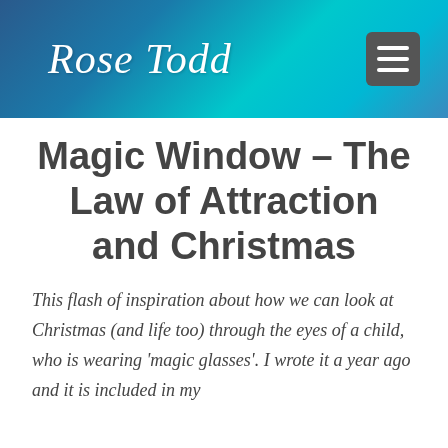Rose Todd
Magic Window – The Law of Attraction and Christmas
This flash of inspiration about how we can look at Christmas (and life too) through the eyes of a child, who is wearing 'magic glasses'. I wrote it a year ago and it is included in my